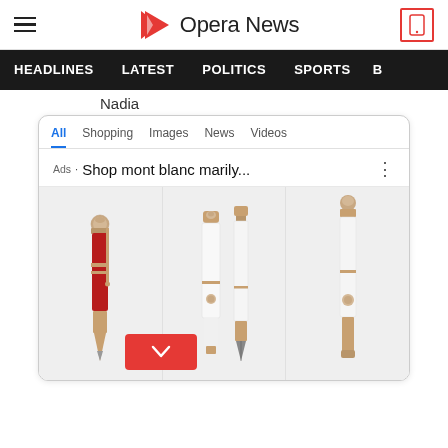[Figure (screenshot): Opera News website header with hamburger menu, Opera News logo with red N icon, and mobile device icon]
HEADLINES  LATEST  POLITICS  SPORTS  B
Nadia
[Figure (screenshot): Google search results screenshot showing search tabs (All, Shopping, Images, News, Videos), an ad for 'Shop mont blanc marily...' and three product images of Montblanc pens - a red ballpoint pen, white fountain pen set, and partial view of white pen]